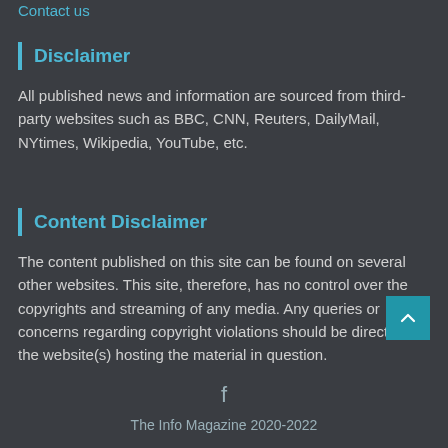Contact us
Disclaimer
All published news and information are sourced from third-party websites such as BBC, CNN, Reuters, DailyMail, NYtimes, Wikipedia, YouTube, etc.
Content Disclaimer
The content published on this site can be found on several other websites. This site, therefore, has no control over the copyrights and streaming of any media. Any queries or concerns regarding copyright violations should be directed to the website(s) hosting the material in question.
The Info Magazine 2020-2022